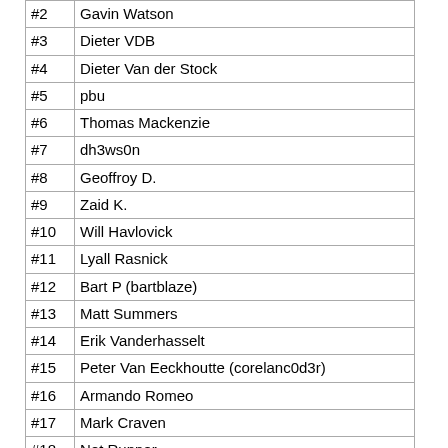| Rank | Name |
| --- | --- |
| #2 | Gavin Watson |
| #3 | Dieter VDB |
| #4 | Dieter Van der Stock |
| #5 | pbu |
| #6 | Thomas Mackenzie |
| #7 | dh3ws0n |
| #8 | Geoffroy D. |
| #9 | Zaid K. |
| #10 | Will Havlovick |
| #11 | Lyall Rasnick |
| #12 | Bart P (bartblaze) |
| #13 | Matt Summers |
| #14 | Erik Vanderhasselt |
| #15 | Peter Van Eeckhoutte (corelanc0d3r) |
| #16 | Armando Romeo |
| #17 | Mark Craven |
| #18 | Net Runner |
| #19 | D. Leroy |
| #20 | Philippe Cox |
| #21 | Régis Senet |